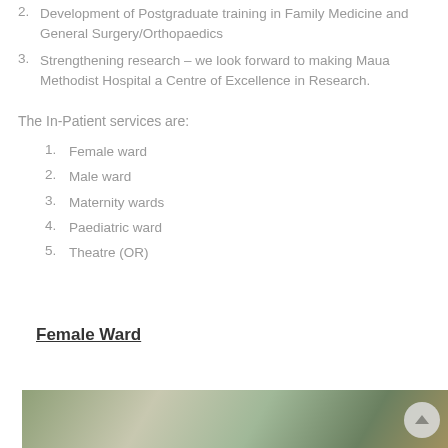2. Development of Postgraduate training in Family Medicine and General Surgery/Orthopaedics
3. Strengthening research – we look forward to making Maua Methodist Hospital a Centre of Excellence in Research.
The In-Patient services are:
1. Female ward
2. Male ward
3. Maternity wards
4. Paediatric ward
5. Theatre (OR)
Female Ward
[Figure (photo): Photo of Female Ward interior at Maua Methodist Hospital]